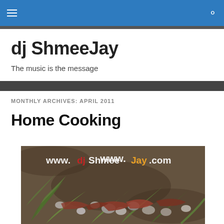dj ShmeeJay — navigation bar
dj ShmeeJay
The music is the message
MONTHLY ARCHIVES: APRIL 2011
Home Cooking
[Figure (photo): An overhead photo of ferns, rocks, red bark/wood pieces arranged on dark soil, with watermark text 'www.djShmeeJay.com' overlaid in white, red, and blue.]